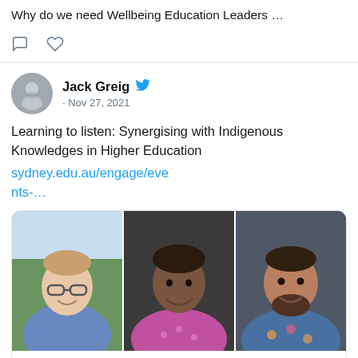Why do we need Wellbeing Education Leaders …
[Figure (screenshot): Social media action icons: comment bubble and heart/like icon]
Jack Greig · Nov 27, 2021
Learning to listen: Synergising with Indigenous Knowledges in Higher Education sydney.edu.au/engage/events-…
[Figure (photo): Link preview image showing three people side by side: a man with glasses in blue shirt, an older Indigenous woman smiling, and a bearded man smiling in a floral shirt]
sydney.edu.au
Learning to listen